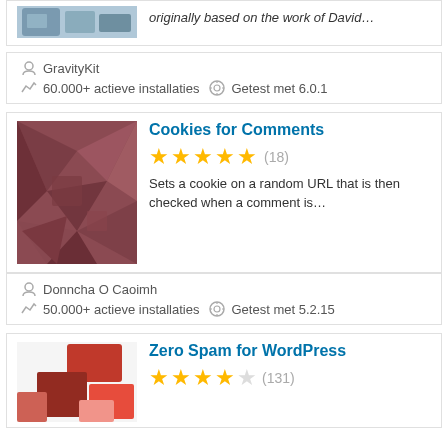[Figure (photo): Partial top image of a plugin (keyboard/tech themed), cropped]
originally based on the work of David…
GravityKit
60.000+ actieve installaties   Getest met 6.0.1
[Figure (photo): Red/mauve low-poly geometric pattern plugin thumbnail for Cookies for Comments]
Cookies for Comments
★★★★★ (18)
Sets a cookie on a random URL that is then checked when a comment is…
Donncha O Caoimh
50.000+ actieve installaties   Getest met 5.2.15
[Figure (photo): Red/orange mosaic blocks plugin thumbnail for Zero Spam for WordPress, partially shown]
Zero Spam for WordPress
★★★★☆ (131)